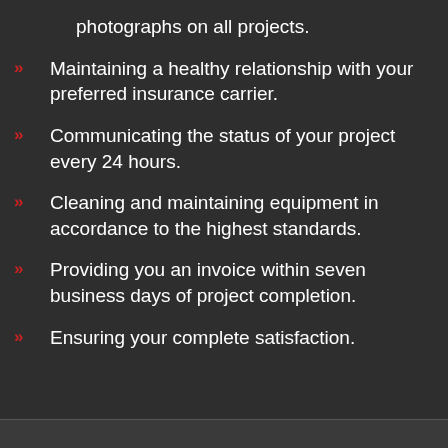photographs on all projects.
Maintaining a healthy relationship with your preferred insurance carrier.
Communicating the status of your project every 24 hours.
Cleaning and maintaining equipment in accordance to the highest standards.
Providing you an invoice within seven business days of project completion.
Ensuring your complete satisfaction.